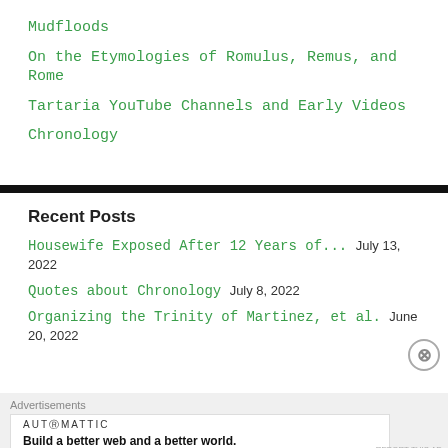Mudfloods
On the Etymologies of Romulus, Remus, and Rome
Tartaria YouTube Channels and Early Videos
Chronology
Recent Posts
Housewife Exposed After 12 Years of... July 13, 2022
Quotes about Chronology July 8, 2022
Organizing the Trinity of Martinez, et al. June 20, 2022
Advertisements
AUTOMATTIC
Build a better web and a better world.